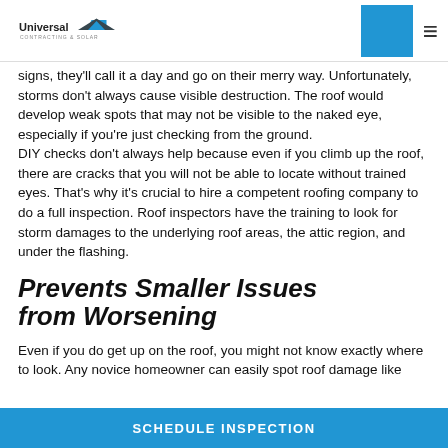Universal Contracting & Solar
signs, they'll call it a day and go on their merry way. Unfortunately, storms don't always cause visible destruction. The roof would develop weak spots that may not be visible to the naked eye, especially if you're just checking from the ground. DIY checks don't always help because even if you climb up the roof, there are cracks that you will not be able to locate without trained eyes. That's why it's crucial to hire a competent roofing company to do a full inspection. Roof inspectors have the training to look for storm damages to the underlying roof areas, the attic region, and under the flashing.
Prevents Smaller Issues from Worsening
Even if you do get up on the roof, you might not know exactly where to look. Any novice homeowner can easily spot roof damage like
SCHEDULE INSPECTION